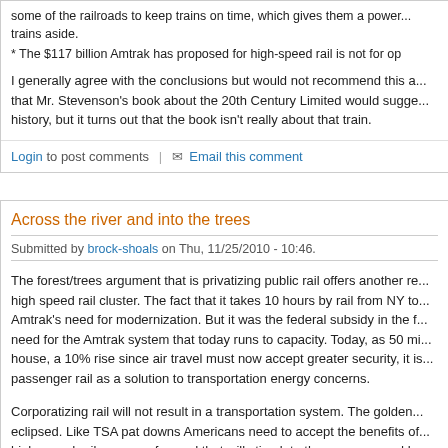some of the railroads to keep trains on time, which gives them a power... trains aside.
* The $117 billion Amtrak has proposed for high-speed rail is not for op
I generally agree with the conclusions but would not recommend this a... that Mr. Stevenson's book about the 20th Century Limited would sugge... history, but it turns out that the book isn't really about that train.
Login to post comments | ✉ Email this comment
Across the river and into the trees
Submitted by brock-shoals on Thu, 11/25/2010 - 10:46.
The forest/trees argument that is privatizing public rail offers another re... high speed rail cluster. The fact that it takes 10 hours by rail from NY to... Amtrak's need for modernization. But it was the federal subsidy in the f... need for the Amtrak system that today runs to capacity. Today, as 50 mi... house, a 10% rise since air travel must now accept greater security, it is... passenger rail as a solution to transportation energy concerns.
Corporatizing rail will not result in a transportation system. The golden... eclipsed. Like TSA pat downs Americans need to accept the benefits of... high-speed rail as a way forward that will stimulate the economy and he... We need to demonstrate that passenger rail of the future will be...